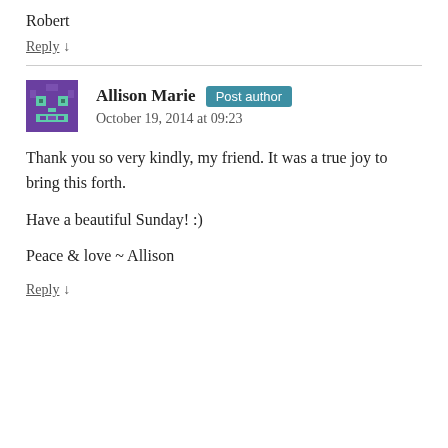Robert
Reply ↓
[Figure (illustration): Pixel art avatar icon — purple and teal robot/monster face on a dark purple background]
Allison Marie Post author
October 19, 2014 at 09:23
Thank you so very kindly, my friend. It was a true joy to bring this forth.

Have a beautiful Sunday! :)

Peace & love ~ Allison
Reply ↓